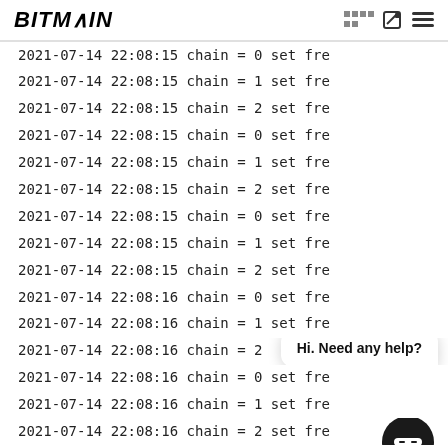BITMAIN
2021-07-14 22:08:15 chain = 0 set fre
2021-07-14 22:08:15 chain = 1 set fre
2021-07-14 22:08:15 chain = 2 set fre
2021-07-14 22:08:15 chain = 0 set fre
2021-07-14 22:08:15 chain = 1 set fre
2021-07-14 22:08:15 chain = 2 set fre
2021-07-14 22:08:15 chain = 0 set fre
2021-07-14 22:08:15 chain = 1 set fre
2021-07-14 22:08:15 chain = 2 set fre
2021-07-14 22:08:16 chain = 0 set fre
2021-07-14 22:08:16 chain = 1 set fre
2021-07-14 22:08:16 chain = 2 set fre
2021-07-14 22:08:16 chain = 0 set fre
2021-07-14 22:08:16 chain = 1 set fre
2021-07-14 22:08:16 chain = 2 set fre
2021-07-14 22:08:16 chain = 0 set fre
2021-07-14 22:08:16 chain = 1 set fre